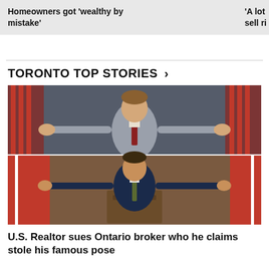Homeowners got 'wealthy by mistake' | 'A lot sell ri
TORONTO TOP STORIES >
[Figure (photo): Two-panel photo: top panel shows a man in grey suit with arms spread wide in front of US flags; bottom panel shows a man in dark suit with arms spread wide in front of Canadian flags.]
U.S. Realtor sues Ontario broker who he claims stole his famous pose